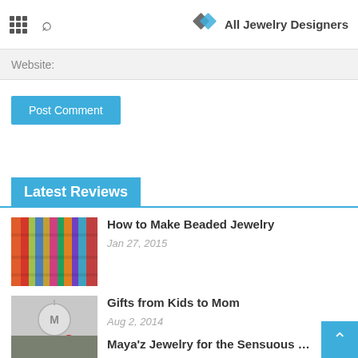All Jewelry Designers
Website:
Post Comment
Latest Reviews
How to Make Beaded Jewelry
Jan 27, 2015
[Figure (photo): Colorful beaded jewelry strands in various colors]
Gifts from Kids to Mom
Aug 2, 2014
[Figure (photo): Silver charm pendants with Mom heart charm and red gem]
Maya'z Jewelry for the Sensuous Woman of Today
[Figure (photo): Jewelry item partially visible at bottom]